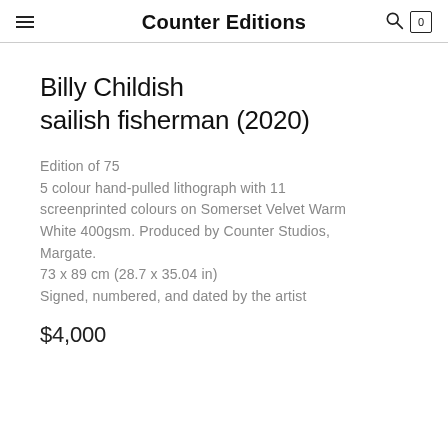Counter Editions
Billy Childish
sailish fisherman (2020)
Edition of 75
5 colour hand-pulled lithograph with 11 screenprinted colours on Somerset Velvet Warm White 400gsm. Produced by Counter Studios, Margate.
73 x 89 cm (28.7 x 35.04 in)
Signed, numbered, and dated by the artist
$4,000